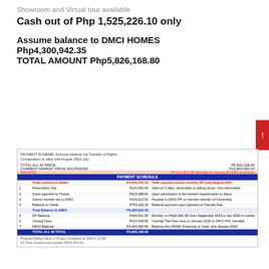Showroom and Virtual tour available
Cash out of Php 1,525,226.10 only
Assume balance to DMCI HOMES
Php4,300,942.35
TOTAL AMOUNT Php5,826,168.80
|  | Total Cashout to Seller | P1,525,226.10 | Total cashout covers monthly DP until August 2022 |
| --- | --- | --- | --- |
| 1 | Reservation Fee | P100,000.00 | Valid for 5 days. Deductible to selling prices. Non-refundable |
| 2 | Down payment to Trustor | P615,388.81 | Upon submission of the transfer requirements to Jesus |
| 3 | Admin / transfer fee to DMCI | P109,610.81 | Payable to DMCI PH on transfer-transfer of Ownership |
| 4 | Balance to Owner | P700,226.10 | Balance payment upon payment of Transfer Fee. |
|  | Total Balance to DMCI | P5,300,942.35 |  |
| 5 | DP Balance | P443,041.55 | Monthly or (Php5,465.35) from September 2023 to Jan 2026-4 months |
| 6 | Closing Fees | P515,008.80 | Closing/Title Fees due on January 2026 to DMCI PHL loanable |
| 7 | DMCI Balance | P4,443,492.80 | Balance thru HDMF, Financing or Cash, due January 2024 |
|  | TOTAL ALL IN TOTAL | P5,826,168.80 |  |
Projected Market Value on Project Completion on 2024 is 10.4M
5% Price increase every quarter (RDD) [R-6-A]